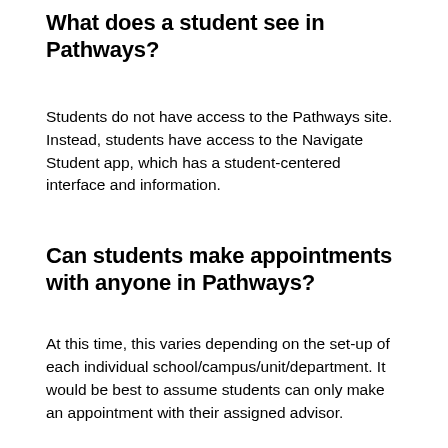What does a student see in Pathways?
Students do not have access to the Pathways site. Instead, students have access to the Navigate Student app, which has a student-centered interface and information.
Can students make appointments with anyone in Pathways?
At this time, this varies depending on the set-up of each individual school/campus/unit/department. It would be best to assume students can only make an appointment with their assigned advisor.